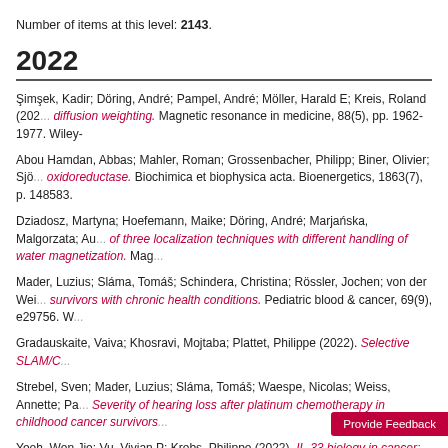Number of items at this level: 2143.
2022
Şimşek, Kadir; Döring, André; Pampel, André; Möller, Harald E; Kreis, Roland (202...). diffusion weighting. Magnetic resonance in medicine, 88(5), pp. 1962-1977. Wiley-
Abou Hamdan, Abbas; Mahler, Roman; Grossenbacher, Philipp; Biner, Olivier; Sjös... oxidoreductase. Biochimica et biophysica acta. Bioenergetics, 1863(7), p. 148583.
Dziadosz, Martyna; Hoefemann, Maike; Döring, André; Marjańska, Malgorzata; Au... of three localization techniques with different handling of water magnetization. Mag...
Mader, Luzius; Sláma, Tomáš; Schindera, Christina; Rössler, Jochen; von der Wei... survivors with chronic health conditions. Pediatric blood & cancer, 69(9), e29756. W...
Gradauskaite, Vaiva; Khosravi, Mojtaba; Plattet, Philippe (2022). Selective SLAM/C...
Strebel, Sven; Mader, Luzius; Sláma, Tomáš; Waespe, Nicolas; Weiss, Annette; Pa... Severity of hearing loss after platinum chemotherapy in childhood cancer survivors...
Yeoh, Wen Jie; Vu, Vivian P; Krebs, Philippe (2022). IL-33 biology in cancer: An up...
Liu, Shengchen; Kohler, Andreas; Langer, Rupert; Jakob, Manuel O; Salm, Lilian; D... impaired in prolonged experimental abdominal sepsis. (In Press). American journa...
Moser, Aline I; Campos-Madueno, Edgar I; Perreten, Vincent;...